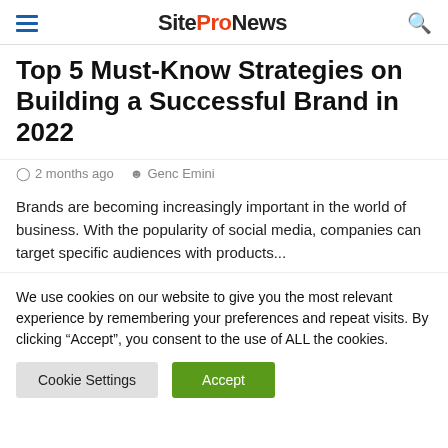SiteProNews
Top 5 Must-Know Strategies on Building a Successful Brand in 2022
2 months ago   Genc Emini
Brands are becoming increasingly important in the world of business. With the popularity of social media, companies can target specific audiences with products...
We use cookies on our website to give you the most relevant experience by remembering your preferences and repeat visits. By clicking “Accept”, you consent to the use of ALL the cookies.